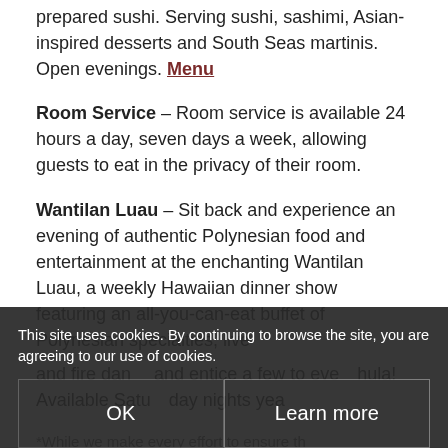prepared sushi. Serving sushi, sashimi, Asian-inspired desserts and South Seas martinis. Open evenings. Menu
Room Service – Room service is available 24 hours a day, seven days a week, allowing guests to eat in the privacy of their room.
Wantilan Luau – Sit back and experience an evening of authentic Polynesian food and entertainment at the enchanting Wantilan Luau, a weekly Hawaiian dinner show featuring an all-you-can-eat buffet of Polynesian specialties, live and fire dan… and entice a few to eve… hula! Available Saturday nights yea…
This site uses cookies. By continuing to browse the site, you are agreeing to our use of cookies.
*While we make every effort to ensure th…